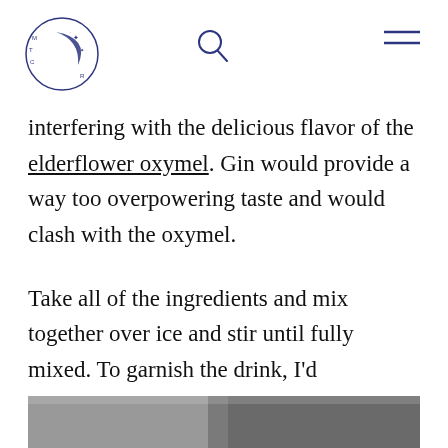[Figure (logo): Circular moon and stars logo with text around it in dark blue/navy]
interfering with the delicious flavor of the elderflower oxymel. Gin would provide a way too overpowering taste and would clash with the oxymel.
Take all of the ingredients and mix together over ice and stir until fully mixed. To garnish the drink, I’d recommend an orange slice.
[Figure (photo): Partial photo strip at bottom of page, mostly obscured]